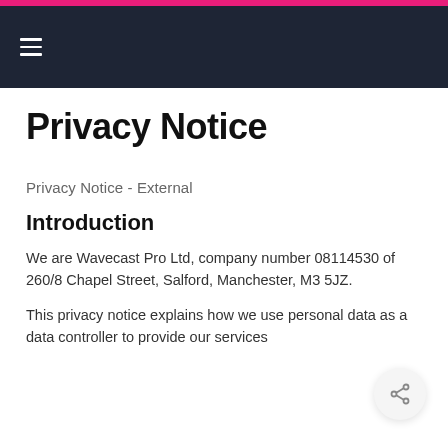☰ (navigation menu)
Privacy Notice
Privacy Notice  -  External
Introduction
We are Wavecast Pro Ltd, company number 08114530 of 260/8 Chapel Street, Salford, Manchester, M3 5JZ.
This privacy notice explains how we use personal data as a data controller to provide our services